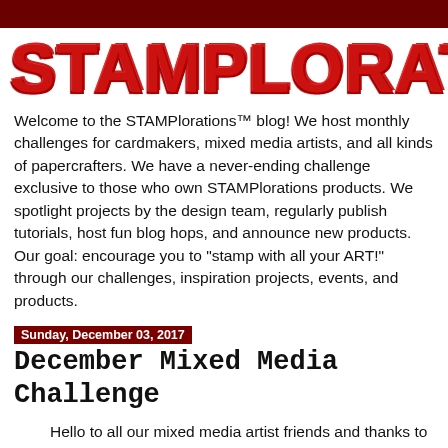STAMPlorations
Welcome to the STAMPlorations™ blog! We host monthly challenges for cardmakers, mixed media artists, and all kinds of papercrafters. We have a never-ending challenge exclusive to those who own STAMPlorations products. We spotlight projects by the design team, regularly publish tutorials, host fun blog hops, and announce new products. Our goal: encourage you to "stamp with all your ART!" through our challenges, inspiration projects, events, and products.
Sunday, December 03, 2017
December Mixed Media Challenge
Hello to all our mixed media artist friends and thanks to